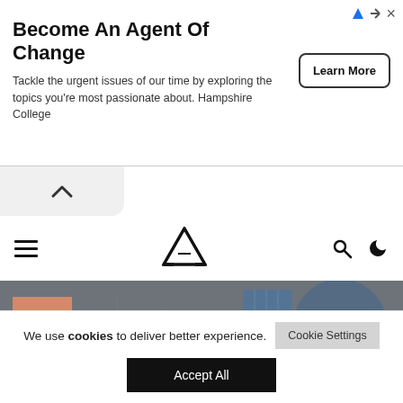[Figure (screenshot): Advertisement banner for Hampshire College: 'Become An Agent Of Change' with Learn More button and ad icons]
Become An Agent Of Change
Tackle the urgent issues of our time by exploring the topics you're most passionate about. Hampshire College
[Figure (logo): Architizer logo - triangular A shape in black]
[Figure (photo): Hero image showing Marsamxett Lift student project - architectural drawings and 3D renders with blue and grey tones]
S — student projects
Marsamxett Lift
We use cookies to deliver better experience.
Cookie Settings
Accept All